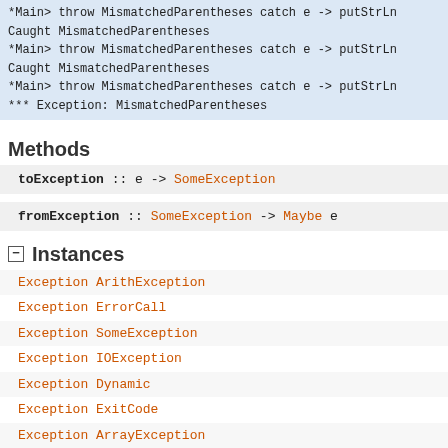*Main> throw MismatchedParentheses catch e -> putStrLn
Caught MismatchedParentheses
*Main> throw MismatchedParentheses catch e -> putStrLn
Caught MismatchedParentheses
*Main> throw MismatchedParentheses catch e -> putStrLn
*** Exception: MismatchedParentheses
Methods
toException :: e -> SomeException
fromException :: SomeException -> Maybe e
Instances
Exception ArithException
Exception ErrorCall
Exception SomeException
Exception IOException
Exception Dynamic
Exception ExitCode
Exception ArrayException
Exception AsyncException
Exception AssertionFailed
Exception Deadlock
Exception BlockedIndefinitelyOnSTM
Exception BlockedIndefinitelyOnMVar
Exception BlockedIndefinitely